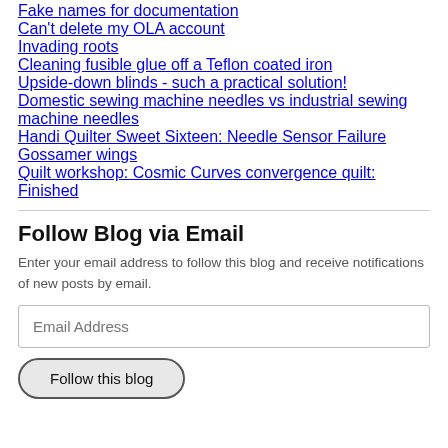Fake names for documentation
Can't delete my OLA account
Invading roots
Cleaning fusible glue off a Teflon coated iron
Upside-down blinds - such a practical solution!
Domestic sewing machine needles vs industrial sewing machine needles
Handi Quilter Sweet Sixteen: Needle Sensor Failure
Gossamer wings
Quilt workshop: Cosmic Curves convergence quilt: Finished
Follow Blog via Email
Enter your email address to follow this blog and receive notifications of new posts by email.